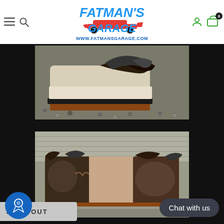Fatman's Garage - www.fatmansgarage.com
[Figure (photo): Close-up photo of a deteriorated, damaged car seat corner with rust and torn upholstery, sitting on gravel]
[Figure (photo): Photo of completely deteriorated car seat cushion/bench showing torn fabric, foam, and rust damage, laid out on a surface outdoors]
SOLD OUT
Chat with us